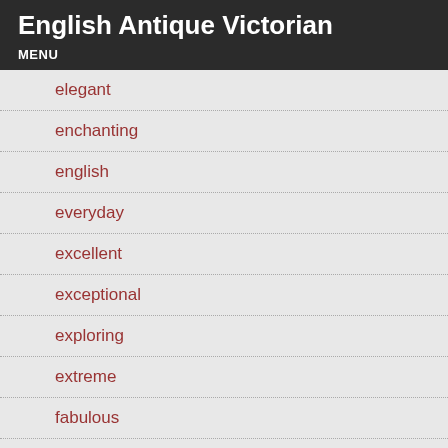English Antique Victorian
MENU
elegant
enchanting
english
everyday
excellent
exceptional
exploring
extreme
fabulous
fairy
fall
famous
fancy
farm